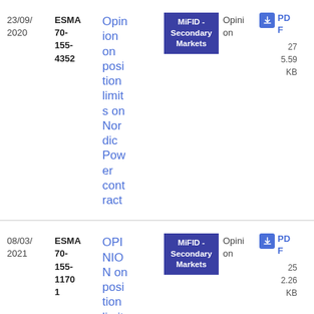| Date | Reference | Title | Topic | Type | Download |
| --- | --- | --- | --- | --- | --- |
| 23/09/2020 | ESMA 70-155-4352 | Opinion on position limits on Nordic Power contract | MiFID - Secondary Markets | Opinion | PDF 275.59 KB |
| 08/03/2021 | ESMA 70-155-11701 | OPINION on position limits on | MiFID - Secondary Markets | Opinion | PDF 252.26 KB |